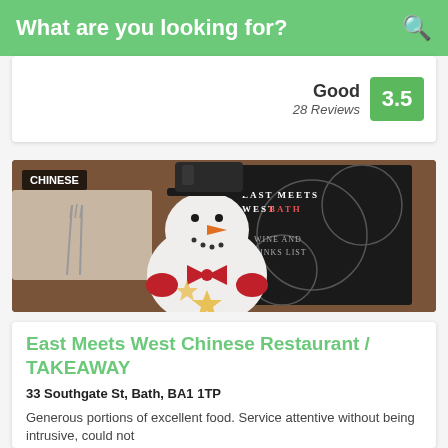What are you looking for?
Good
28 Reviews
3.5
[Figure (photo): Photo of a ceramic snowman figurine with a black top hat, orange carrot nose, red bow tie, and star cutouts glowing with light inside, placed in front of a dark menu card reading 'East Meets West Bath – Wine and Drinks List' on a wooden table with cutlery visible in the background. A label reading 'CHINESE' is overlaid in the top-left corner.]
East Meets West Chinese Restaurant / TAKEAWAY
33 Southgate St, Bath, BA1 1TP
Generous portions of excellent food. Service attentive without being intrusive, could not...